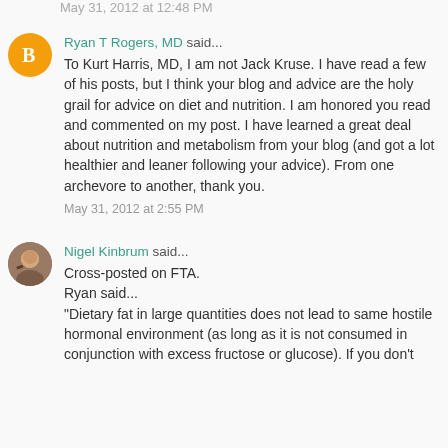May 31, 2012 at 12:48 PM
Ryan T Rogers, MD said...
To Kurt Harris, MD, I am not Jack Kruse. I have read a few of his posts, but I think your blog and advice are the holy grail for advice on diet and nutrition. I am honored you read and commented on my post. I have learned a great deal about nutrition and metabolism from your blog (and got a lot healthier and leaner following your advice). From one archevore to another, thank you.
May 31, 2012 at 2:55 PM
Nigel Kinbrum said...
Cross-posted on FTA.
Ryan said...
"Dietary fat in large quantities does not lead to same hostile hormonal environment (as long as it is not consumed in conjunction with excess fructose or glucose). If you don't